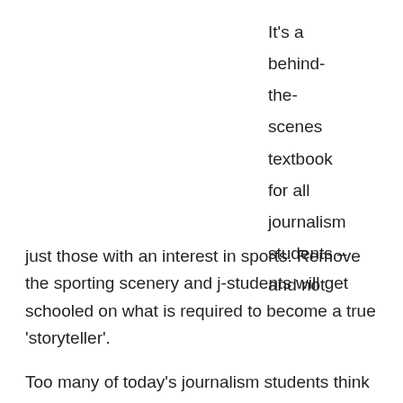It's a behind-the-scenes textbook for all journalism students – and not just those with an interest in sports. Remove the sporting scenery and j-students will get schooled on what is required to become a true 'storyteller'.
Too many of today's journalism students think reporting